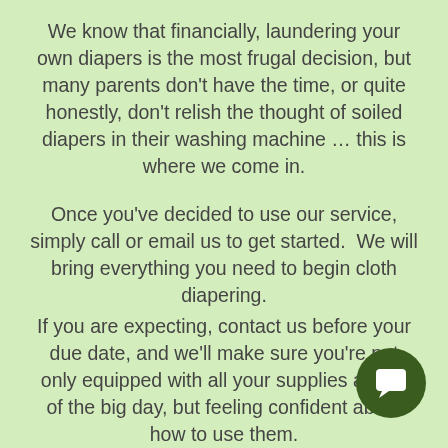We know that financially, laundering your own diapers is the most frugal decision, but many parents don't have the time, or quite honestly, don't relish the thought of soiled diapers in their washing machine … this is where we come in.
Once you've decided to use our service, simply call or email us to get started.  We will bring everything you need to begin cloth diapering.
If you are expecting, contact us before your due date, and we'll make sure you're not only equipped with all your supplies ahead of the big day, but feeling confident about how to use them.
The same diapers will be returned to you each week eliminating concern for cross
[Figure (other): Dark green circular chat/message button icon in the bottom right corner]